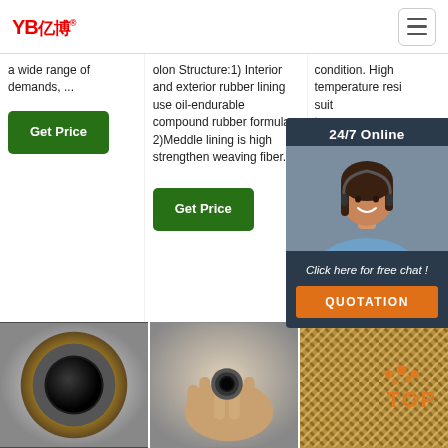YB亿博 — navigation bar with hamburger menu
a wide range of demands, ...
olon Structure:1) Interior and exterior rubber lining use oil-endurable compound rubber formula.. 2)Meddle lining is high strengthen weaving fiber.
condition. High temperature resi suit tran agg and
[Figure (other): 24/7 Online chat popup widget with agent photo, 'Click here for free chat!' text, and orange QUOTATION button]
[Figure (photo): Close-up of rubber hose end showing black inner bore and braided exterior]
[Figure (photo): Hand holding a rubber hose end]
[Figure (photo): Close-up of braided hose exterior texture with TOP navigation icon]